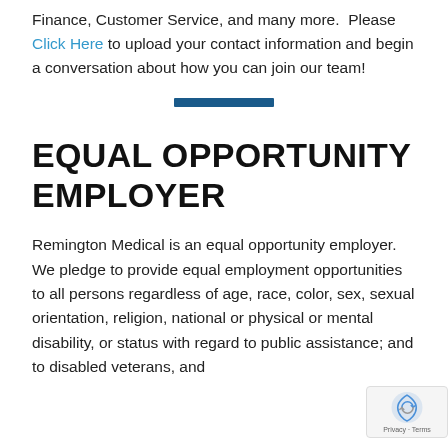Finance, Customer Service, and many more.  Please Click Here to upload your contact information and begin a conversation about how you can join our team!
[Figure (other): A horizontal dark blue decorative divider bar centered on the page]
EQUAL OPPORTUNITY EMPLOYER
Remington Medical is an equal opportunity employer. We pledge to provide equal employment opportunities to all persons regardless of age, race, color, sex, sexual orientation, religion, national or physical or mental disability, or status with regard to public assistance; and to disabled veterans, and